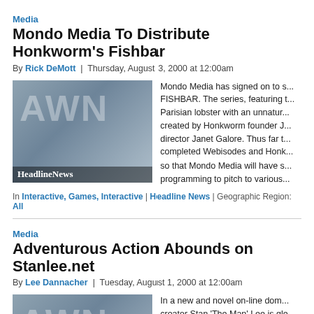Media
Mondo Media To Distribute Honkworm's Fishbar
By Rick DeMott | Thursday, August 3, 2000 at 12:00am
[Figure (photo): AWN Headline News placeholder image with animated characters]
Mondo Media has signed on to s... FISHBAR. The series, featuring t... Parisian lobster with an unnatur... created by Honkworm founder J... director Janet Galore. Thus far t... completed Webisodes and Honk... so that Mondo Media will have s... programming to pitch to various...
In Interactive, Games, Interactive | Headline News | Geographic Region: All
Media
Adventurous Action Abounds on Stanlee.net
By Lee Dannacher | Tuesday, August 1, 2000 at 12:00am
[Figure (photo): AWN Headline News placeholder image with animated characters]
In a new and novel on-line dom... creator Stan 'The Man' Lee is gle... commanding cache of super-her...